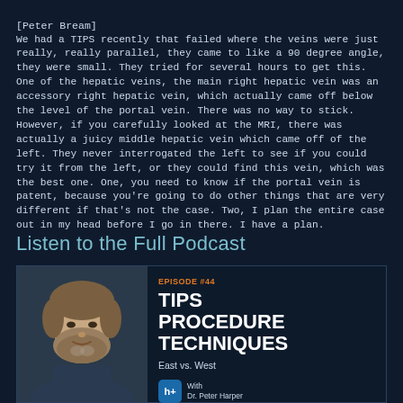[Peter Bream]
We had a TIPS recently that failed where the veins were just really, really parallel, they came to like a 90 degree angle, they were small. They tried for several hours to get this. One of the hepatic veins, the main right hepatic vein was an accessory right hepatic vein, which actually came off below the level of the portal vein. There was no way to stick. However, if you carefully looked at the MRI, there was actually a juicy middle hepatic vein which came off of the left. They never interrogated the left to see if you could try it from the left, or they could find this vein, which was the best one. One, you need to know if the portal vein is patent, because you're going to do other things that are very different if that's not the case. Two, I plan the entire case out in my head before I go in there. I have a plan.
Listen to the Full Podcast
[Figure (other): Podcast episode card for Episode #44: TIPS PROCEDURE TECHNIQUES - East vs. West, featuring a photo of a man and podcast platform icon with 'With Dr. Peter Harper' text]